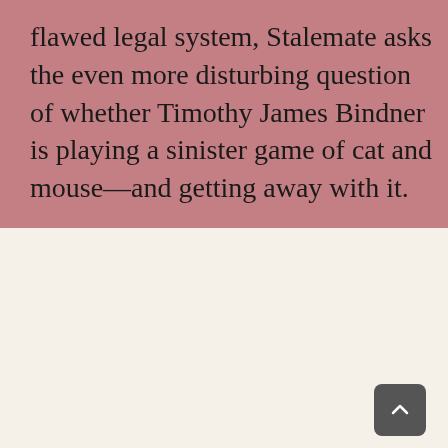flawed legal system, Stalemate asks the even more disturbing question of whether Timothy James Bindner is playing a sinister game of cat and mouse—and getting away with it.
[Figure (other): A white/cream colored card or book cover placeholder with a dark scroll-to-top button (chevron up arrow) in the bottom-right corner]